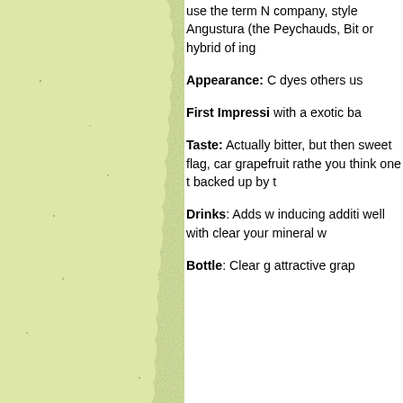[Figure (photo): Left portion of the page showing a pale yellow-green textured paper or stone surface with a torn/deckled right edge, taking up approximately the left 55% of the visible page.]
use the term N company, style Angustura (the Peychauds, Bit or hybrid of ing
Appearance: C dyes others us
First Impressi with a exotic ba
Taste: Actually bitter, but then sweet flag, car grapefruit rathe you think one t backed up by t
Drinks: Adds w inducing additi well with clear your mineral w
Bottle: Clear g attractive grap